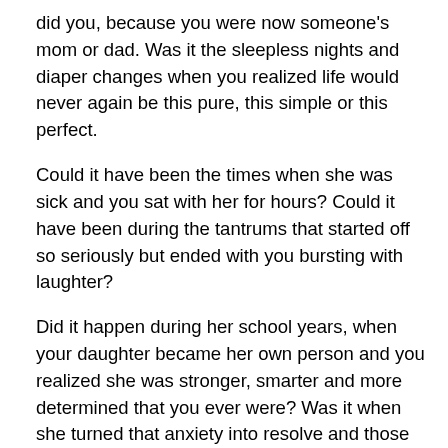did you, because you were now someone's mom or dad. Was it the sleepless nights and diaper changes when you realized life would never again be this pure, this simple or this perfect.
Could it have been the times when she was sick and you sat with her for hours? Could it have been during the tantrums that started off so seriously but ended with you bursting with laughter?
Did it happen during her school years, when your daughter became her own person and you realized she was stronger, smarter and more determined that you ever were? Was it when she turned that anxiety into resolve and those fears into focus?
I hope so; for your sake I hope all of those things are true.